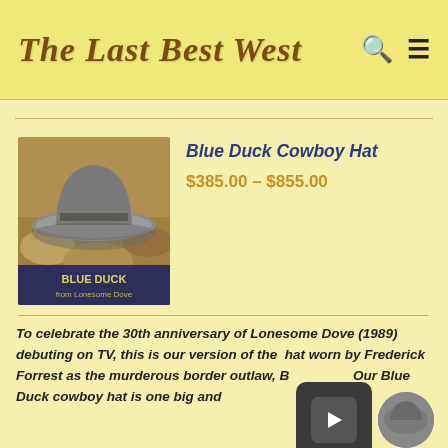The Last Best West
[Figure (photo): Blue Duck cowboy hat product photo with text 'BLUE DUCK from Lonesome Dove' overlaid at bottom]
Blue Duck Cowboy Hat
$385.00 – $855.00
To celebrate the 30th anniversary of Lonesome Dove (1989)  debuting on TV, this is our version of the  hat worn by Frederick Forrest as the murderous border outlaw, Blue Duck. Our Blue Duck cowboy hat is one big and